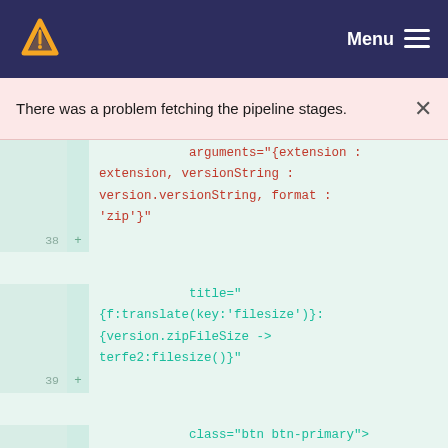Menu
There was a problem fetching the pipeline stages.
[Figure (screenshot): Code diff view showing lines 38-40 of a template file with arguments, title, and class attributes in red/teal syntax highlighting on a green background]